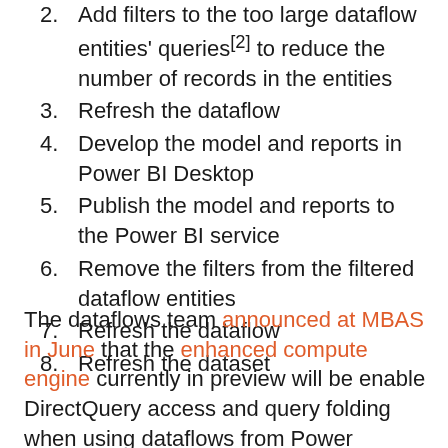2. Add filters to the too large dataflow entities' queries[2] to reduce the number of records in the entities
3. Refresh the dataflow
4. Develop the model and reports in Power BI Desktop
5. Publish the model and reports to the Power BI service
6. Remove the filters from the filtered dataflow entities
7. Refresh the dataflow
8. Refresh the dataset
The dataflows team announced at MBAS in June that the enhanced compute engine currently in preview will be enable DirectQuery access and query folding when using dataflows from Power